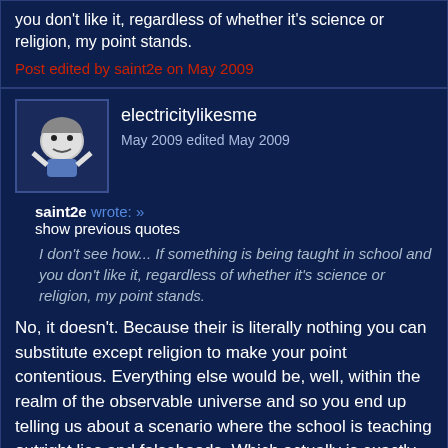you don't like it, regardless of whether it's science or religion, my point stands.
Post edited by saint2e on May 2009
electricitylikesme
May 2009 edited May 2009
saint2e wrote: »
show previous quotes
I don't see how... If something is being taught in school and you don't like it, regardless of whether it's science or religion, my point stands.
No, it doesn't. Because their is literally nothing you can substitute except religion to make your point contentious. Everything else would be, well, within the realm of the observable universe and so you end up telling us about a scenario where the school is teaching outright lies and falsehoods. Which actually is exactly what you're presupposing anyway.